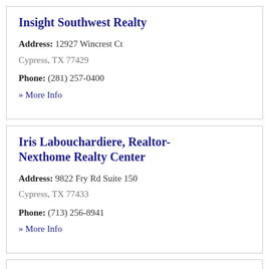Insight Southwest Realty
Address: 12927 Wincrest Ct
Cypress, TX 77429
Phone: (281) 257-0400
» More Info
Iris Labouchardiere, Realtor-Nexthome Realty Center
Address: 9822 Fry Rd Suite 150
Cypress, TX 77433
Phone: (713) 256-8941
» More Info
Jill Smith Realty